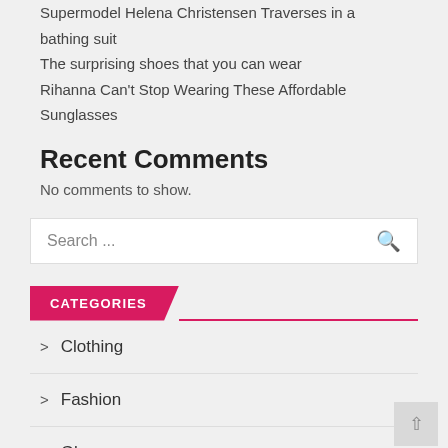Supermodel Helena Christensen Traverses in a bathing suit
The surprising shoes that you can wear
Rihanna Can't Stop Wearing These Affordable Sunglasses
Recent Comments
No comments to show.
Search ...
CATEGORIES
Clothing
Fashion
Glamour
Kids Fashion
lifestyle